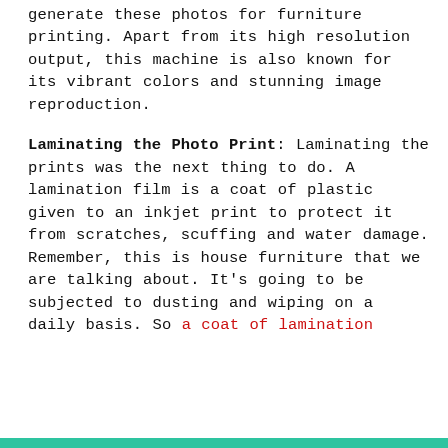generate these photos for furniture printing. Apart from its high resolution output, this machine is also known for its vibrant colors and stunning image reproduction.
Laminating the Photo Print: Laminating the prints was the next thing to do. A lamination film is a coat of plastic given to an inkjet print to protect it from scratches, scuffing and water damage. Remember, this is house furniture that we are talking about. It's going to be subjected to dusting and wiping on a daily basis. So a coat of lamination